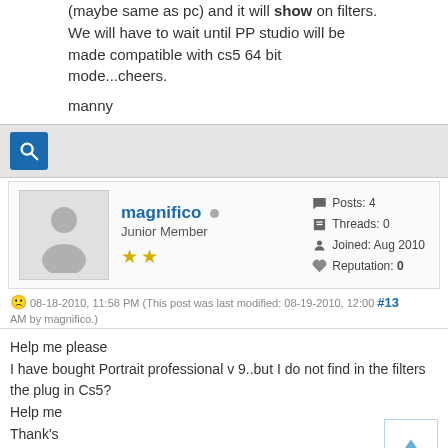(maybe same as pc) and it will show on filters. We will have to wait until PP studio will be made compatible with cs5 64 bit mode...cheers.
manny
magnifico — Junior Member — Posts: 4, Threads: 0, Joined: Aug 2010, Reputation: 0
08-18-2010, 11:58 PM (This post was last modified: 08-19-2010, 12:00 AM by magnifico.) #13
Help me please
I have bought Portrait professional v 9..but I do not find in the filters the plug in Cs5?
Help me
Thank's
Sorry for my bad english...i'm italian